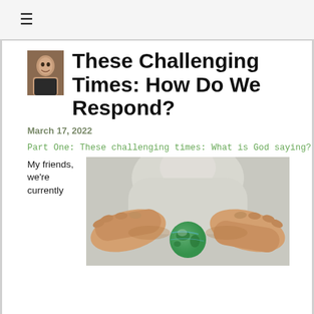≡
These Challenging Times: How Do We Respond?
March 17, 2022
Part One: These challenging times: What is God saying?
My friends, we're currently
[Figure (photo): Hands cupping a small globe/Earth ball, blurred person in background wearing white shirt]